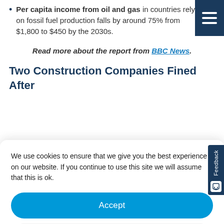Per capita income from oil and gas in countries rely on fossil fuel production falls by around 75% from $1,800 to $450 by the 2030s.
Read more about the report from BBC News.
Two Construction Companies Fined After
We use cookies to ensure that we give you the best experience on our website. If you continue to use this site we will assume that this is ok.
Accept
Deny
Preferences
Cookie Policy  Privacy Policy